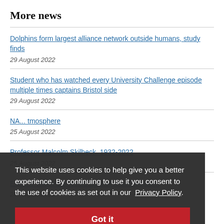More news
Dolphins form largest alliance network outside humans, study finds
29 August 2022
Student who has watched every University Challenge episode multiple times captains Bristol side
29 August 2022
NASA... atmosphere
25 August 2022
Professor Malcolm Skilbeck, 1932-2022
25 August 2022
Exp... millions of users against misinformation
24 August 2022
This website uses cookies to help give you a better experience. By continuing to use it you consent to the use of cookies as set out in our  Privacy Policy.
Got it